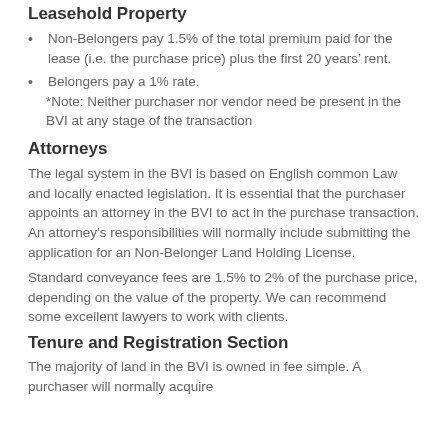Leasehold Property
Non-Belongers pay 1.5% of the total premium paid for the lease (i.e. the purchase price) plus the first 20 years’ rent.
Belongers pay a 1% rate.
*Note: Neither purchaser nor vendor need be present in the BVI at any stage of the transaction
Attorneys
The legal system in the BVI is based on English common Law and locally enacted legislation. It is essential that the purchaser appoints an attorney in the BVI to act in the purchase transaction. An attorney’s responsibilities will normally include submitting the application for an Non-Belonger Land Holding License.
Standard conveyance fees are 1.5% to 2% of the purchase price, depending on the value of the property. We can recommend some excellent lawyers to work with clients.
Tenure and Registration Section
The majority of land in the BVI is owned in fee simple. A purchaser will normally acquire